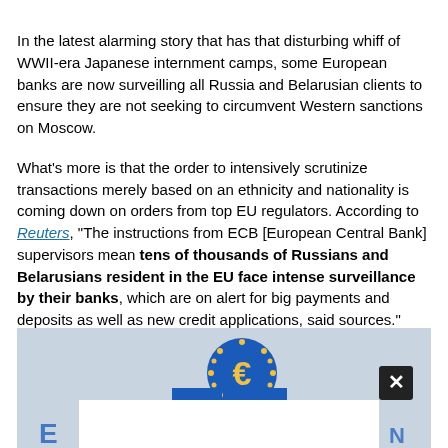In the latest alarming story that has that disturbing whiff of WWII-era Japanese internment camps, some European banks are now surveilling all Russia and Belarusian clients to ensure they are not seeking to circumvent Western sanctions on Moscow.
What's more is that the order to intensively scrutinize transactions merely based on an ethnicity and nationality is coming down on orders from top EU regulators. According to Reuters, "The instructions from ECB [European Central Bank] supervisors mean tens of thousands of Russians and Belarusians resident in the EU face intense surveillance by their banks, which are on alert for big payments and deposits as well as new credit applications, said sources."
[Figure (photo): Photo of ECB (European Central Bank) logo/building with a white overlay dialog box partially covering the lower portion. A close/dismiss button (X) appears in the upper right of the image area.]